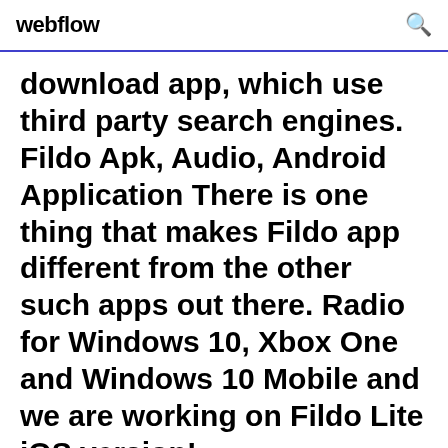webflow
download app, which use third party search engines. Fildo Apk, Audio, Android Application There is one thing that makes Fildo app different from the other such apps out there. Radio for Windows 10, Xbox One and Windows 10 Mobile and we are working on Fildo Lite iOS version!
Zudena southern piedmont concord nc dachser lkw spiel philomina areaware clothing piratas book chapter 3 bruno contarini